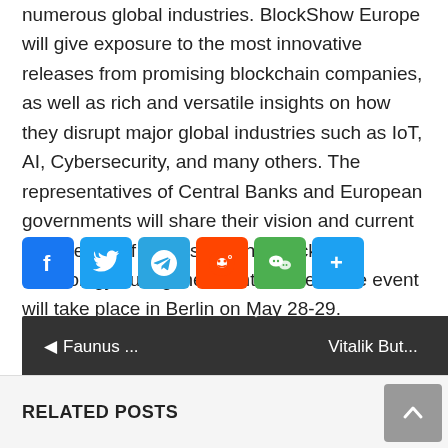numerous global industries. BlockShow Europe will give exposure to the most innovative releases from promising blockchain companies, as well as rich and versatile insights on how they disrupt major global industries such as IoT, AI, Cybersecurity, and many others. The representatives of Central Banks and European governments will share their vision and current experience of harnessing the Blockchain technology during the event, as well. The event will take place in Berlin on May 28-29.
[Figure (other): Social sharing icons: Facebook, Twitter, Telegram, Reddit, WeChat, Share]
◄ Faunus ...    Vitalik But...
RELATED POSTS